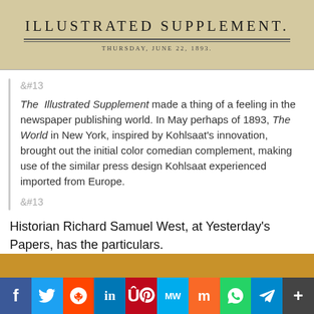[Figure (photo): Scanned newspaper header reading 'ILLUSTRATED SUPPLEMENT.' with date 'THURSDAY, JUNE 22, 1893.' on aged paper background with double rule lines]
&#13;
The Illustrated Supplement made a thing of a feeling in the newspaper publishing world. In May perhaps of 1893, The World in New York, inspired by Kohlsaat’s innovation, brought out the initial color comedian complement, making use of the similar press design Kohlsaat experienced imported from Europe.
&#13;
Historian Richard Samuel West, at Yesterday’s Papers, has the particulars.
[Figure (photo): Partial view of another newspaper image with orange/brown background]
[Figure (other): Social media share bar with Facebook, Twitter, Reddit, LinkedIn, Pinterest, MeWe, Mix, WhatsApp, Telegram, and More buttons]